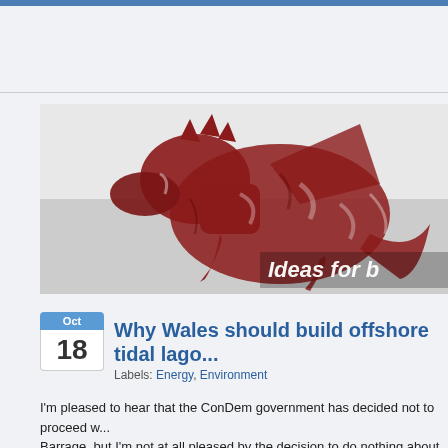[Figure (photo): Welsh flag with red dragon on white and green background, with text overlay 'Ideas for b...' in italic white font on right side]
Why Wales should build offshore tidal lago...
Labels: Energy, Environment
I'm pleased to hear that the ConDem government has decided not to proceed w... Barrage, but I'm not at all pleased by the decision to do nothing about harnessin... available to us from the Severn. So what I want to do in this post is try to expla...